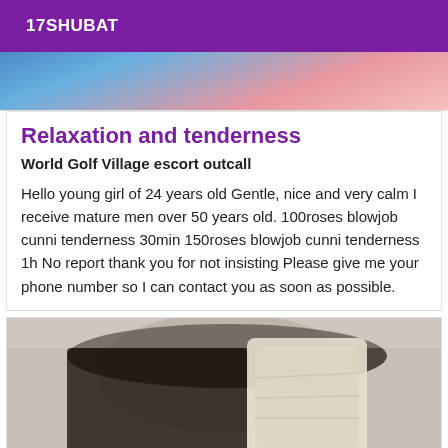17SHUBAT
[Figure (photo): Partial close-up photo of a person's face, cropped at top]
Relaxation and tenderness
World Golf Village escort outcall
Hello young girl of 24 years old Gentle, nice and very calm I receive mature men over 50 years old. 100roses blowjob cunni tenderness 30min 150roses blowjob cunni tenderness 1h No report thank you for not insisting Please give me your phone number so I can contact you as soon as possible.
[Figure (photo): Photo of a person with dark hair, face partially obscured]